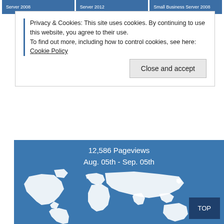Server 2008   Server 2012   Small Business Server 2008
Privacy & Cookies: This site uses cookies. By continuing to use this website, you agree to their use.
To find out more, including how to control cookies, see here: Cookie Policy
Windows Server 2012 R2
Windows Server 2016
Windows XP
[Figure (map): World map showing 12,586 Pageviews Aug. 05th - Sep. 05th with a TOP button in the lower right]